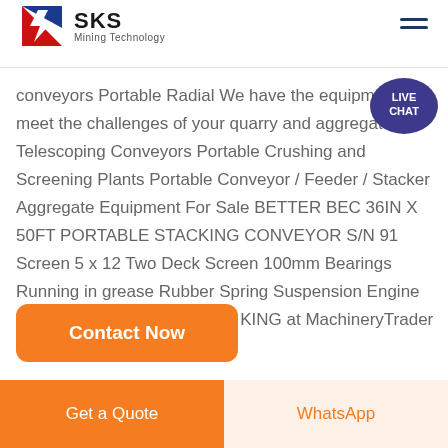[Figure (logo): SKS Mining Technology logo with red and blue angular S design and company name]
conveyors Portable Radial We have the equipment to meet the challenges of your quarry and aggregate Telescoping Conveyors Portable Crushing and Screening Plants Portable Conveyor / Feeder / Stacker Aggregate Equipment For Sale BETTER BEC 36IN X 50FT PORTABLE STACKING CONVEYOR S/N 91 Screen 5 x 12 Two Deck Screen 100mm Bearings Running in grease Rubber Spring Suspension Engine Four Cylinder CEC QUARRY KING at MachineryTrader 4
Contact Now
Get a Quote
WhatsApp